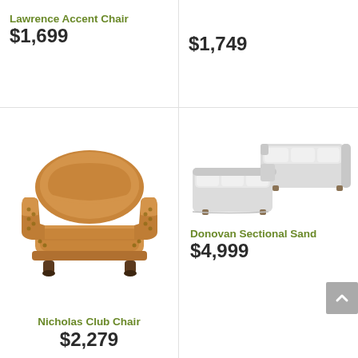Lawrence Accent Chair
$1,699
$1,749
[Figure (photo): Brown leather club chair with rolled arms and nailhead trim on turned wooden legs]
Nicholas Club Chair
$2,279
[Figure (photo): Light gray curved sectional sofa with USB charging ports]
Donovan Sectional Sand
$4,999